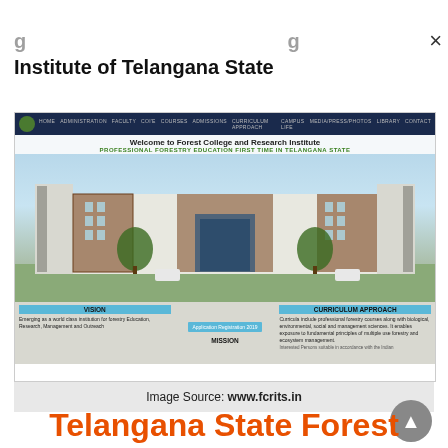Institute of Telangana State
[Figure (screenshot): Screenshot of the Forest College and Research Institute website (www.fcrits.in) showing the homepage with navigation bar, welcome banner, building rendering, vision, mission, and curriculum approach sections.]
Image Source: www.fcrits.in
Telangana State Forest